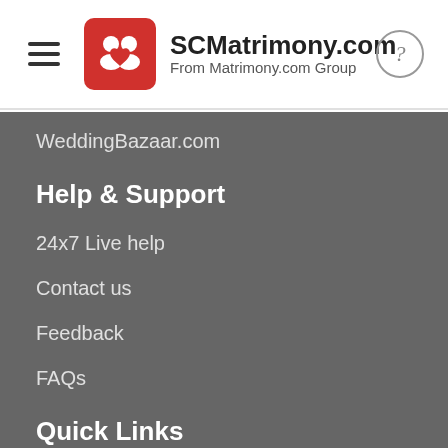SCMatrimony.com From Matrimony.com Group
WeddingBazaar.com
Help & Support
24x7 Live help
Contact us
Feedback
FAQs
Quick Links
Upgrade